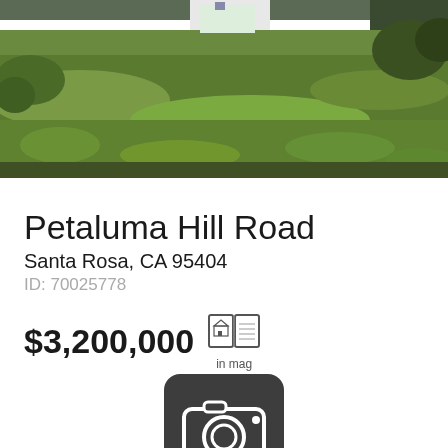[Figure (photo): Outdoor photo showing a field of green grass with a white structure/building partially visible in the background and some trees and shrubs, taken from ground level]
Petaluma Hill Road
Santa Rosa, CA 95404
ID: 70025778
$3,200,000
[Figure (illustration): Magazine/book icon with house image on it, labeled 'in mag']
[Figure (illustration): Dark rounded square camera icon button]
Photos